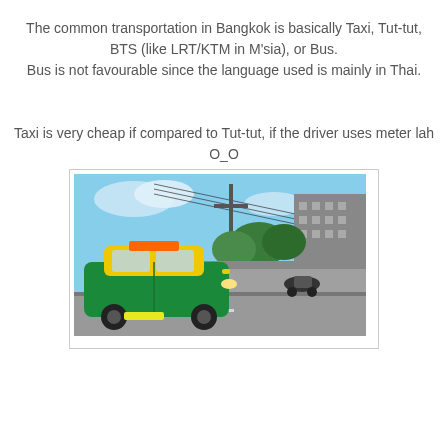The common transportation in Bangkok is basically Taxi, Tut-tut, BTS (like LRT/KTM in M'sia), or Bus. Bus is not favourable since the language used is mainly in Thai.
Taxi is very cheap if compared to Tut-tut, if the driver uses meter lah O_O
[Figure (photo): A green and yellow Bangkok taxi (Toyota Corolla) on a street, with a motorcyclist and buildings visible in the background.]